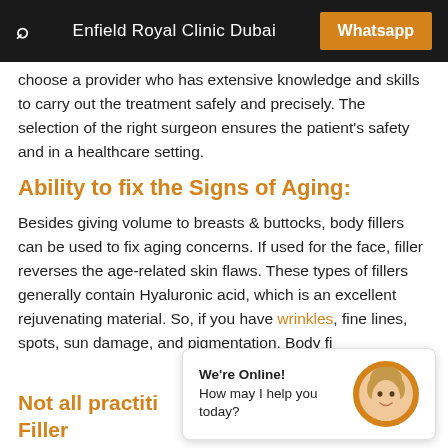Enfield Royal Clinic Dubai | Whatsapp
choose a provider who has extensive knowledge and skills to carry out the treatment safely and precisely. The selection of the right surgeon ensures the patient's safety and in a healthcare setting.
Ability to fix the Signs of Aging:
Besides giving volume to breasts & buttocks, body fillers can be used to fix aging concerns. If used for the face, filler reverses the age-related skin flaws. These types of fillers generally contain Hyaluronic acid, which is an excellent rejuvenating material. So, if you have wrinkles, fine lines, spots, sun damage, and pigmentation, Body fillers are the solution for you.
Not all practitioners are Equally Fillers Qualified...
We're Online!
How may I help you today?